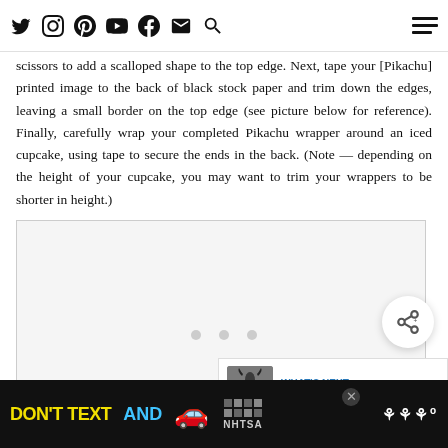[Navigation bar with social media icons: Twitter, Instagram, Pinterest, YouTube, Facebook, Email, Search, and hamburger menu]
scissors to add a scalloped shape to the top edge. Next, tape your [Pikachu] printed image to the back of black stock paper and trim down the edges, leaving a small border on the top edge (see picture below for reference). Finally, carefully wrap your completed Pikachu wrapper around an iced cupcake, using tape to secure the ends in the back. (Note — depending on the height of your cupcake, you may want to trim your wrappers to be shorter in height.)
[Figure (photo): Image placeholder with loading indicator dots - a gray box area where a photo would appear showing the Pikachu cupcake wrapper reference]
DON'T TEXT AND [car emoji] — NHTSA advertisement banner